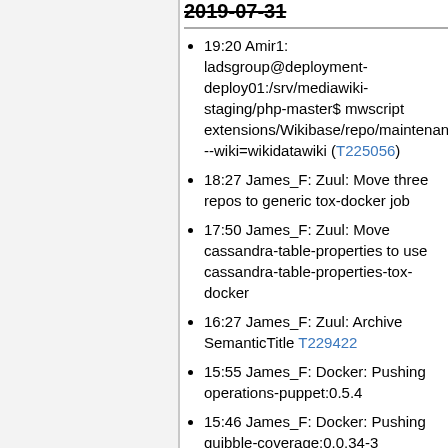2019-07-31
19:20 Amir1: ladsgroup@deployment-deploy01:/srv/mediawiki-staging/php-master$ mwscript extensions/Wikibase/repo/maintenance/ --wiki=wikidatawiki (T225056)
18:27 James_F: Zuul: Move three repos to generic tox-docker job
17:50 James_F: Zuul: Move cassandra-table-properties to use cassandra-table-properties-tox-docker
16:27 James_F: Zuul: Archive SemanticTitle T229422
15:55 James_F: Docker: Pushing operations-puppet:0.5.4
15:46 James_F: Docker: Pushing quibble-coverage:0.0.34-3
14:21 andrewbogott: moving